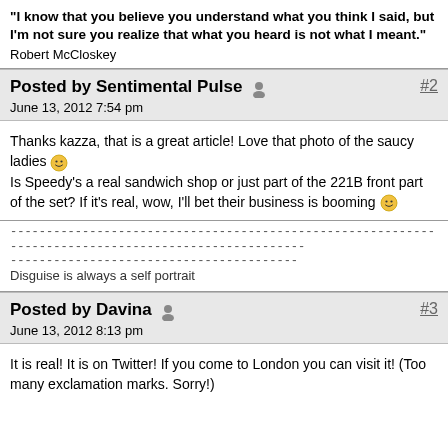"I know that you believe you understand what you think I said, but I'm not sure you realize that what you heard is not what I meant."
Robert McCloskey
Posted by Sentimental Pulse  #2
June 13, 2012 7:54 pm
Thanks kazza, that is a great article! Love that photo of the saucy ladies :) Is Speedy's a real sandwich shop or just part of the 221B front part of the set? If it's real, wow, I'll bet their business is booming :)
----------------------------------------------------------------------------------------------------
----------------------------------------
Disguise is always a self portrait
Posted by Davina  #3
June 13, 2012 8:13 pm
It is real! It is on Twitter! If you come to London you can visit it! (Too many exclamation marks. Sorry!)